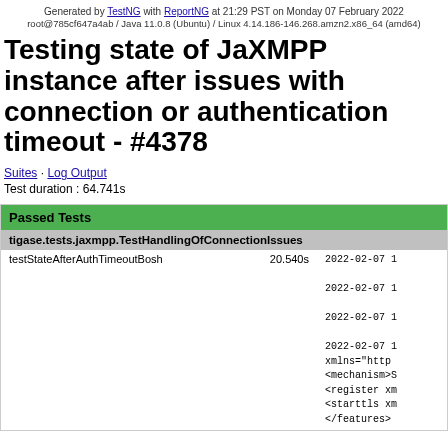Generated by TestNG with ReportNG at 21:29 PST on Monday 07 February 2022
root@785cf647a4ab / Java 11.0.8 (Ubuntu) / Linux 4.14.186-146.268.amzn2.x86_64 (amd64)
Testing state of JaXMPP instance after issues with connection or authentication timeout - #4378
Suites · Log Output
Test duration : 64.741s
| Test | Duration | Log |
| --- | --- | --- |
| tigase.tests.jaxmpp.TestHandlingOfConnectionIssues |  |  |
| testStateAfterAuthTimeoutBosh | 20.540s | 2022-02-07 1
2022-02-07 1
2022-02-07 1
2022-02-07 1
xmlns="http
<mechanism>S
<register xm
<starttls xm
</features> |